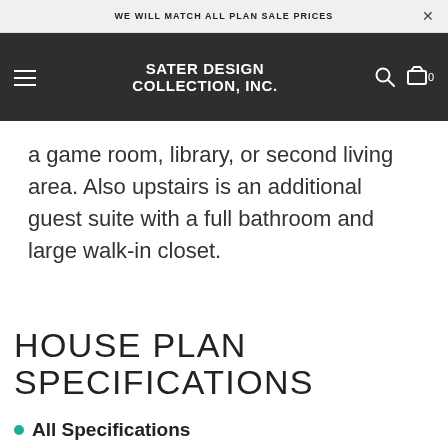WE WILL MATCH ALL PLAN SALE PRICES
[Figure (logo): Sater Design Collection, Inc. logo with hamburger menu, search icon, and cart icon on dark background navigation bar]
a game room, library, or second living area. Also upstairs is an additional guest suite with a full bathroom and large walk-in closet.
HOUSE PLAN SPECIFICATIONS
All Specifications